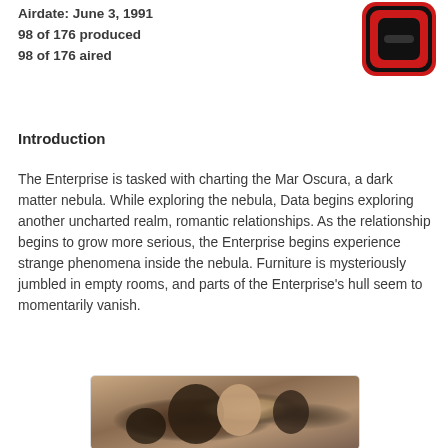Airdate: June 3, 1991
98 of 176 produced
98 of 176 aired
[Figure (logo): Red and black rounded square logo icon]
Introduction
The Enterprise is tasked with charting the Mar Oscura, a dark matter nebula. While exploring the nebula, Data begins exploring another uncharted realm, romantic relationships. As the relationship begins to grow more serious, the Enterprise begins experience strange phenomena inside the nebula. Furniture is mysteriously jumbled in empty rooms, and parts of the Enterprise’s hull seem to momentarily vanish.
[Figure (photo): A scene from a Star Trek episode showing two characters kissing, with others in the background]